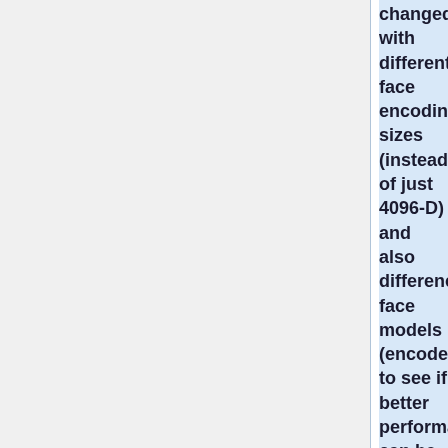changed with different face encoding sizes (instead of just 4096-D) and also difference face models (encoder/decoders) to see if better performance can be achieved. Also given that the dataset used was unbalanced, was the dataset used to train the face model the same dataset? or was a different dataset used